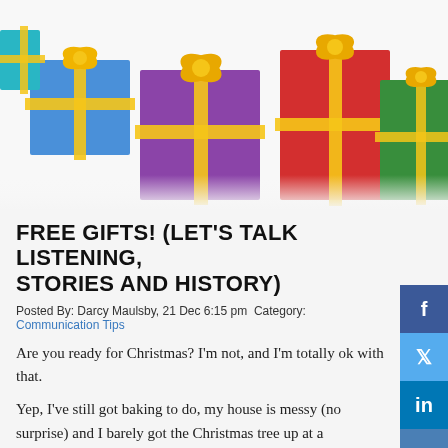[Figure (illustration): Colorful wrapped Christmas gift boxes with ribbons and bows arranged together on a white/light background. Boxes are blue, purple, red, green colors with gold ribbons.]
FREE GIFTS! (LET'S TALK LISTENING, STORIES AND HISTORY)
Posted By: Darcy Maulsby, 21 Dec 6:15 pm  Category: Communication Tips
Are you ready for Christmas? I'm not, and I'm totally ok with that.
Yep, I've still got baking to do, my house is messy (no surprise) and I barely got the Christmas tree up at a respectable time. One bright spot? I've got a pretty good handle on gifts, thanks to my travels across Iowa. I don't stop with tangible gifts, though. As someone who believes in communicating like a leader and preserving history, I know many of the most meaningful gifts go far beyond items you can buy in the store.